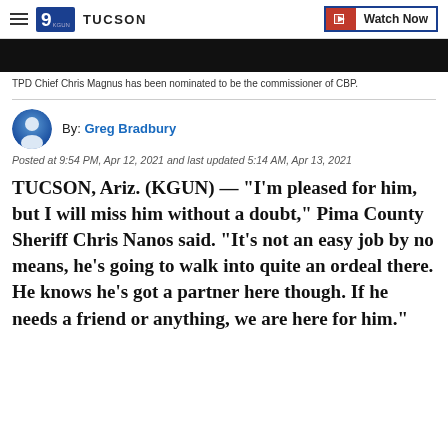9 TUCSON | Watch Now
[Figure (photo): Black video thumbnail bar from a news broadcast]
TPD Chief Chris Magnus has been nominated to be the commissioner of CBP.
By: Greg Bradbury
Posted at 9:54 PM, Apr 12, 2021 and last updated 5:14 AM, Apr 13, 2021
TUCSON, Ariz. (KGUN) — "I'm pleased for him, but I will miss him without a doubt," Pima County Sheriff Chris Nanos said. "It's not an easy job by no means, he's going to walk into quite an ordeal there. He knows he's got a partner here though. If he needs a friend or anything, we are here for him."